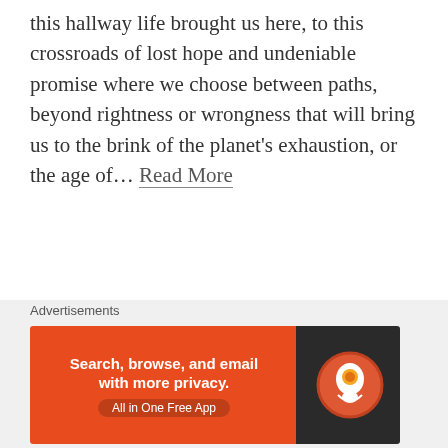this hallway life brought us here, to this crossroads of lost hope and undeniable promise where we choose between paths, beyond rightness or wrongness that will bring us to the brink of the planet's exhaustion, or the age of… Read More
Media Diversified  May 8, 2017  Politics  Activism, dapl, indigenous, native american, resistance, Standing Rock  Leave a comment
An unwelcome home: to be a migrant in today's Britain is a daily struggle
[Figure (photo): Article header photo, partially visible, grey sky image]
Advertisements
[Figure (infographic): DuckDuckGo advertisement banner: Search, browse, and email with more privacy. All in One Free App. DuckDuckGo logo on dark right side.]